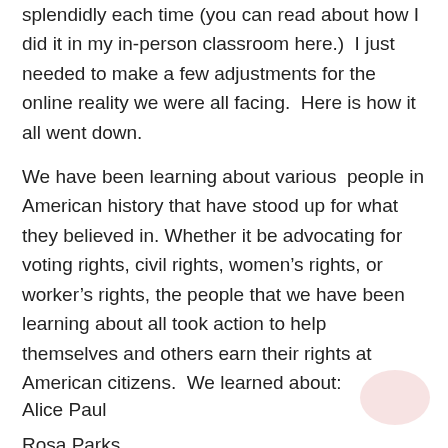splendidly each time (you can read about how I did it in my in-person classroom here.)  I just needed to make a few adjustments for the online reality we were all facing.  Here is how it all went down.
We have been learning about various people in American history that have stood up for what they believed in. Whether it be advocating for voting rights, civil rights, women’s rights, or worker’s rights, the people that we have been learning about all took action to help themselves and others earn their rights at American citizens.  We learned about:
Alice Paul
Rosa Parks